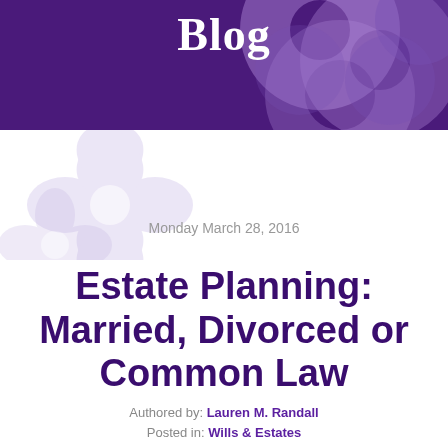Blog
Monday March 28, 2016
Estate Planning: Married, Divorced or Common Law
Authored by: Lauren M. Randall
Posted in: Wills & Estates